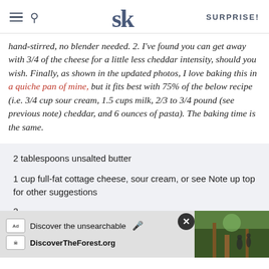SK SURPRISE!
hand-stirred, no blender needed. 2. I've found you can get away with 3/4 of the cheese for a little less cheddar intensity, should you wish. Finally, as shown in the updated photos, I love baking this in a quiche pan of mine, but it fits best with 75% of the below recipe (i.e. 3/4 cup sour cream, 1.5 cups milk, 2/3 to 3/4 pound (see previous note) cheddar, and 6 ounces of pasta). The baking time is the same.
2 tablespoons unsalted butter
1 cup full-fat cottage cheese, sour cream, or see Note up top for other suggestions
2
1